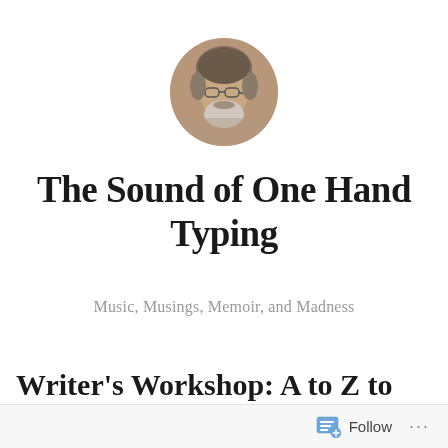[Figure (photo): Circular profile photo of an older man with gray hair, beard, and glasses]
The Sound of One Hand Typing
Music, Musings, Memoir, and Madness
Writer's Workshop: A to Z to Me
[Figure (other): Follow button with icon and three dots menu in bottom bar]